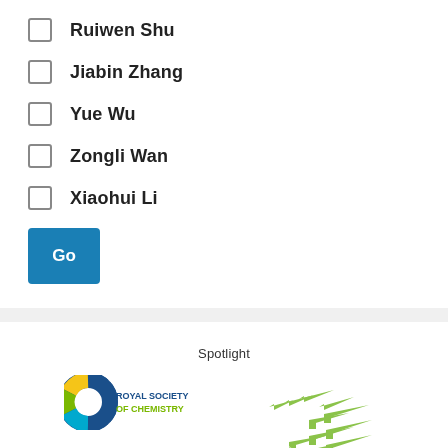Ruiwen Shu
Jiabin Zhang
Yue Wu
Zongli Wan
Xiaohui Li
Go
Spotlight
[Figure (logo): Royal Society of Chemistry logo with colorful C symbol and green arrows diagram]